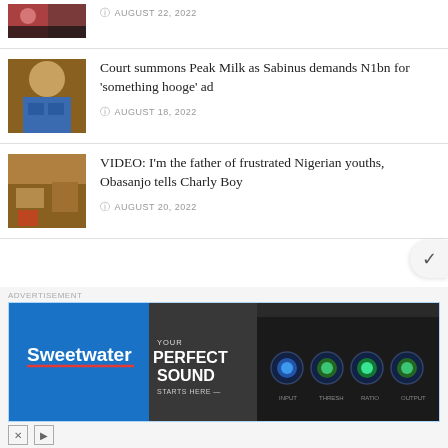[Figure (photo): Thumbnail photo of a person at a concert or event, partially visible at top]
AUGUST 22, 2022
[Figure (photo): Portrait photo of a young man in blue shirt gesturing with hands]
Court summons Peak Milk as Sabinus demands N1bn for 'something hooge' ad
AUGUST 18, 2022
[Figure (photo): Photo of a person in an office or studio setting]
VIDEO: I'm the father of frustrated Nigerian youths, Obasanjo tells Charly Boy
AUGUST 20, 2022
ADVERTISEMENT
[Figure (photo): Sweetwater advertisement banner: 'Your Perfect Sound Starts Here' with audio plugin UI]